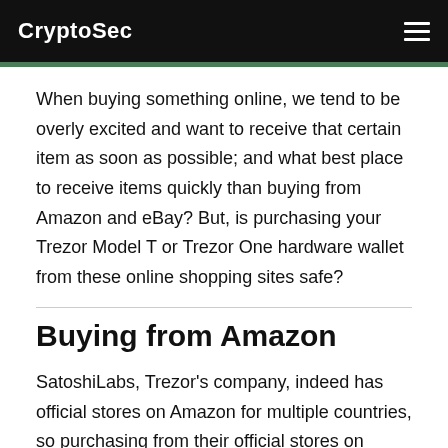CryptoSec
When buying something online, we tend to be overly excited and want to receive that certain item as soon as possible; and what best place to receive items quickly than buying from Amazon and eBay? But, is purchasing your Trezor Model T or Trezor One hardware wallet from these online shopping sites safe?
Buying from Amazon
SatoshiLabs, Trezor's company, indeed has official stores on Amazon for multiple countries, so purchasing from their official stores on Amazon should be safe